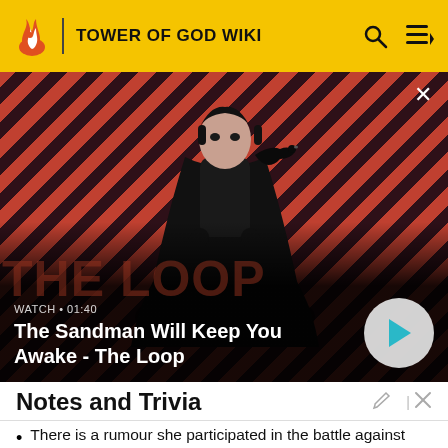TOWER OF GOD WIKI
[Figure (screenshot): Video promo thumbnail showing a dark-clothed figure with a raven on their shoulder against a red and dark diagonal striped background. Text overlay reads 'WATCH · 01:40' and 'The Sandman Will Keep You Awake - The Loop' with a play button.]
Notes and Trivia
There is a rumour she participated in the battle against Eurasia Enne Zahard.
Navigation